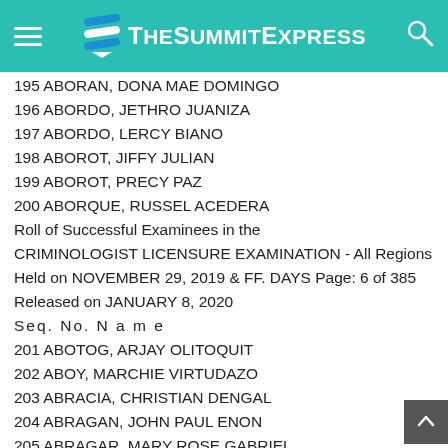TheSummitExpress
195 ABORAN, DONA MAE DOMINGO
196 ABORDO, JETHRO JUANIZA
197 ABORDO, LERCY BIANO
198 ABOROT, JIFFY JULIAN
199 ABOROT, PRECY PAZ
200 ABORQUE, RUSSEL ACEDERA
Roll of Successful Examinees in the CRIMINOLOGIST LICENSURE EXAMINATION - All Regions Held on NOVEMBER 29, 2019 & FF. DAYS Page: 6 of 385 Released on JANUARY 8, 2020
Seq. No. N a m e
201 ABOTOG, ARJAY OLITOQUIT
202 ABOY, MARCHIE VIRTUDAZO
203 ABRACIA, CHRISTIAN DENGAL
204 ABRAGAN, JOHN PAUL ENON
205 ABRAGAR, MARY ROSE GABRIEL
206 ABRAHAN, KIM LIZON